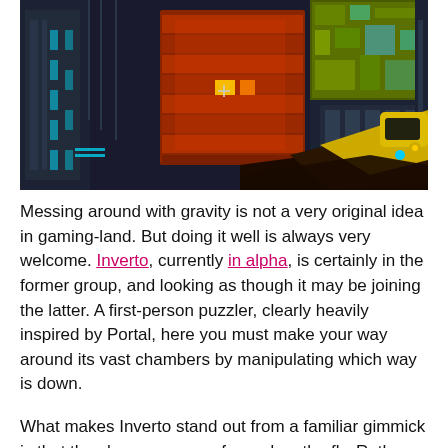[Figure (screenshot): First-person view screenshot from the game Inverto, showing a sci-fi industrial environment with orange/red glowing structures, a yellow gadget held in hand (bottom right), and dark mechanical panels with cyan lighting.]
Messing around with gravity is not a very original idea in gaming-land. But doing it well is always very welcome. Inverto, currently in alpha, is certainly in the former group, and looking as though it may be joining the latter. A first-person puzzler, clearly heavily inspired by Portal, here you must make your way around its vast chambers by manipulating which way is down.
What makes Inverto stand out from a familiar gimmick is that the changes are performed on the fly. Rather than seeing the circumstances changing around you